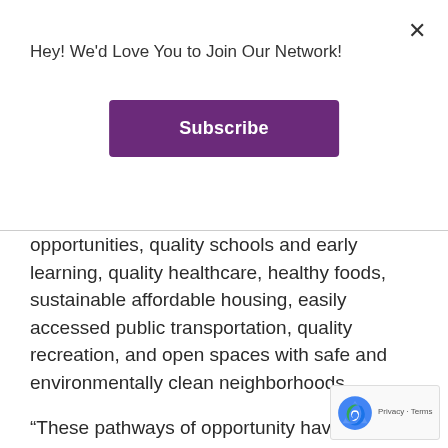Hey! We'd Love You to Join Our Network!
Subscribe
opportunities, quality schools and early learning, quality healthcare, healthy foods, sustainable affordable housing, easily accessed public transportation, quality recreation, and open spaces with safe and environmentally clean neighborhoods.
“These pathways of opportunity have been created through programs such as the City of Savannah’s Community Gardens Initiative, community centers, Forsyth Farmers’ Market and Farm Truck 912, the Tiny Homes Project, the